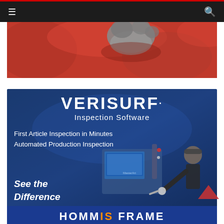≡  🔍
[Figure (photo): Partial view of a red-draped surface with a grey hand/glove visible, cropped advertisement image at top of page]
[Figure (infographic): Verisurf Inspection Software advertisement banner with dark blue gradient background. Text reads: VERISURF. Inspection Software / First Article Inspection in Minutes / Automated Production Inspection / See the Difference. Shows a technician using inspection equipment (MasterArt machine) with a laptop.]
[Figure (photo): Bottom partial banner with dark blue background showing partial white and orange bold text, partially cropped at bottom of page.]